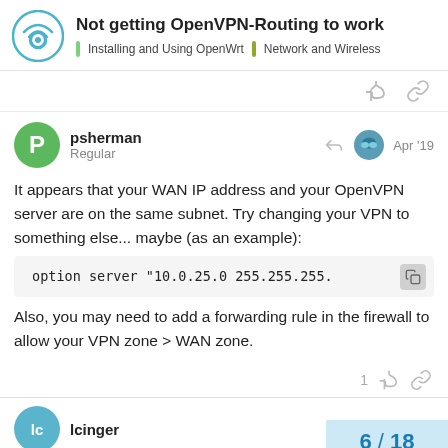Not getting OpenVPN-Routing to work
Installing and Using OpenWrt | Network and Wireless
psherman
Regular
Apr '19
It appears that your WAN IP address and your OpenVPN server are on the same subnet. Try changing your VPN to something else... maybe (as an example):
Also, you may need to add a forwarding rule in the firewall to allow your VPN zone > WAN zone.
lcinger
6 / 18